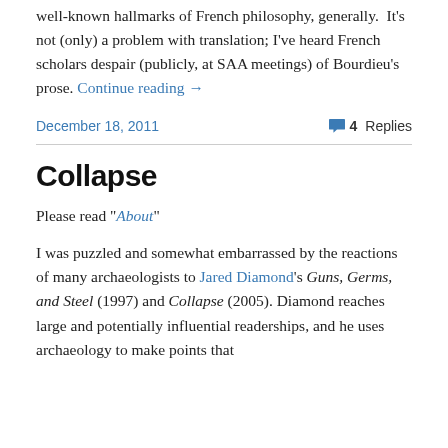well-known hallmarks of French philosophy, generally.  It's not (only) a problem with translation; I've heard French scholars despair (publicly, at SAA meetings) of Bourdieu's prose. Continue reading →
December 18, 2011
4 Replies
Collapse
Please read "About"
I was puzzled and somewhat embarrassed by the reactions of many archaeologists to Jared Diamond's Guns, Germs, and Steel (1997) and Collapse (2005). Diamond reaches large and potentially influential readerships, and he uses archaeology to make points that